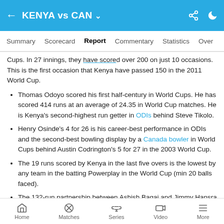KENYA vs CAN
Cups. In 27 innings, they have scored over 200 on just 10 occasions. This is the first occasion that Kenya have passed 150 in the 2011 World Cup.
Thomas Odoyo scored his first half-century in World Cups. He has scored 414 runs at an average of 24.35 in World Cup matches. He is Kenya's second-highest run getter in ODIs behind Steve Tikolo.
Henry Osinde's 4 for 26 is his career-best performance in ODIs and the second-best bowling display by a Canada bowler in World Cups behind Austin Codrington's 5 for 27 in the 2003 World Cup.
The 19 runs scored by Kenya in the last five overs is the lowest by any team in the batting Powerplay in the World Cup (min 20 balls faced).
The 132-run partnership between Ashish Bagai and Jimmy Hansra is the highest fourth-wicket stand for Canada in World Cups and the second highest fourth-wicket stand for Canada in ODIs.
The pair added 57 before Mishra perished in the 43rd
Home  Matches  Series  Video  More